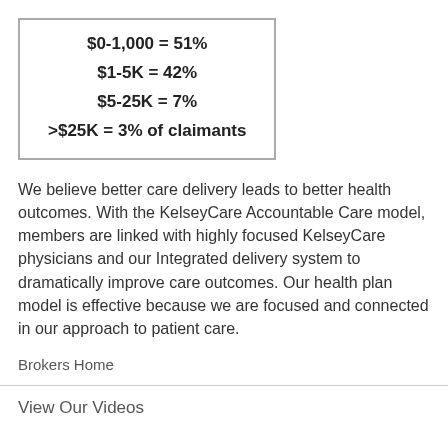$0-1,000 = 51%
$1-5K = 42%
$5-25K = 7%
>$25K = 3% of claimants
We believe better care delivery leads to better health outcomes. With the KelseyCare Accountable Care model, members are linked with highly focused KelseyCare physicians and our Integrated delivery system to dramatically improve care outcomes. Our health plan model is effective because we are focused and connected in our approach to patient care.
Brokers Home
View Our Videos